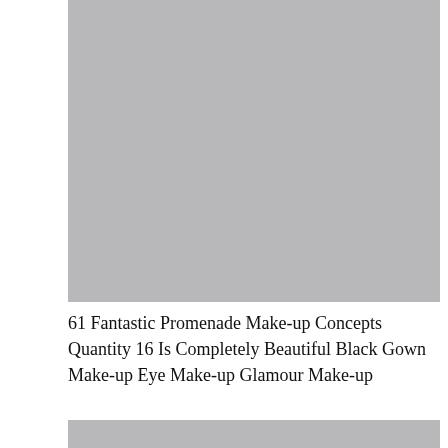[Figure (photo): Large gray placeholder image at the top of the page]
61 Fantastic Promenade Make-up Concepts Quantity 16 Is Completely Beautiful Black Gown Make-up Eye Make-up Glamour Make-up
[Figure (photo): Partial gray placeholder image at the bottom of the page]